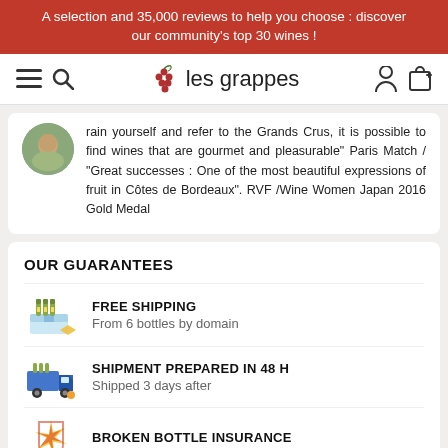A selection and 35,000 reviews to help you choose : discover our community's top 30 wines !
[Figure (logo): Les Grappes website navigation bar with hamburger menu, search icon, grape logo with text 'les grappes', user icon, and cart icon]
rain yourself and refer to the Grands Crus, it is possible to find wines that are gourmet and pleasurable" Paris Match / "Great successes : One of the most beautiful expressions of fruit in Côtes de Bordeaux". RVF /Wine Women Japan 2016 Gold Medal
OUR GUARANTEES
FREE SHIPPING
From 6 bottles by domain
SHIPMENT PREPARED IN 48 H
Shipped 3 days after
BROKEN BOTTLE INSURANCE